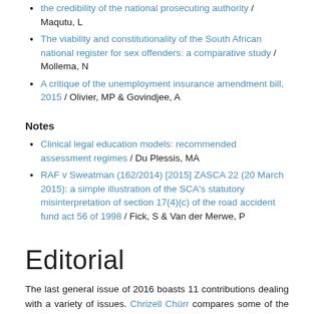the credibility of the national prosecuting authority / Maqutu, L
The viability and constitutionality of the South African national register for sex offenders: a comparative study / Mollema, N
A critique of the unemployment insurance amendment bill, 2015 / Olivier, MP & Govindjee, A
Notes
Clinical legal education models: recommended assessment regimes / Du Plessis, MA
RAF v Sweatman (162/2014) [2015] ZASCA 22 (20 March 2015): a simple illustration of the SCA's statutory misinterpretation of section 17(4)(c) of the road accident fund act 56 of 1998 / Fick, S & Van der Merwe, P
Editorial
The last general issue of 2016 boasts 11 contributions dealing with a variety of issues. Chrizell Chürr compares some of the challenges experienced in the South African educational system with the situation in the German system to propose alternatives for South Africa. Deon Erasmus and Angus Hornigold discuss the emergence of a different kind of model of litigation in South African law, which